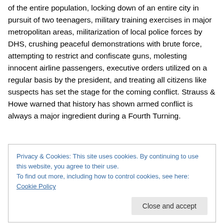of the entire population, locking down of an entire city in pursuit of two teenagers, military training exercises in major metropolitan areas, militarization of local police forces by DHS, crushing peaceful demonstrations with brute force, attempting to restrict and confiscate guns, molesting innocent airline passengers, executive orders utilized on a regular basis by the president, and treating all citizens like suspects has set the stage for the coming conflict. Strauss & Howe warned that history has shown armed conflict is always a major ingredient during a Fourth Turning.
Privacy & Cookies: This site uses cookies. By continuing to use this website, you agree to their use. To find out more, including how to control cookies, see here: Cookie Policy
Close and accept